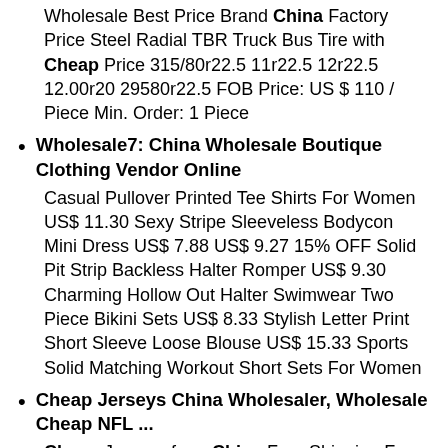Wholesale Best Price Brand China Factory Price Steel Radial TBR Truck Bus Tire with Cheap Price 315/80r22.5 11r22.5 12r22.5 12.00r20 29580r22.5 FOB Price: US $ 110 / Piece Min. Order: 1 Piece
Wholesale7: China Wholesale Boutique Clothing Vendor Online
Casual Pullover Printed Tee Shirts For Women US$ 11.30 Sexy Stripe Sleeveless Bodycon Mini Dress US$ 7.88 US$ 9.27 15% OFF Solid Pit Strip Backless Halter Romper US$ 9.30 Charming Hollow Out Halter Swimwear Two Piece Bikini Sets US$ 8.33 Stylish Letter Print Short Sleeve Loose Blouse US$ 15.33 Sports Solid Matching Workout Short Sets For Women
Cheap Jerseys China Wholesaler, Wholesale Cheap NFL ...
Cheap Jerseys from China Free Shipping For US, Cheap NFL Jerseys, MLB Baseball Jerseys, NHL